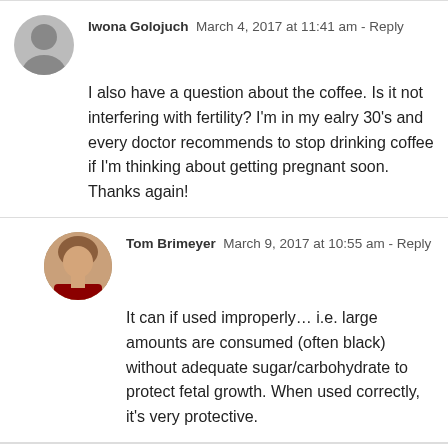Iwona Golojuch  March 4, 2017 at 11:41 am - Reply
I also have a question about the coffee. Is it not interfering with fertility? I'm in my ealry 30's and every doctor recommends to stop drinking coffee if I'm thinking about getting pregnant soon. Thanks again!
Tom Brimeyer  March 9, 2017 at 10:55 am - Reply
It can if used improperly… i.e. large amounts are consumed (often black) without adequate sugar/carbohydrate to protect fetal growth. When used correctly, it's very protective.
Iwona Golojuch  March 9, 2017 at 10:18 am - Reply